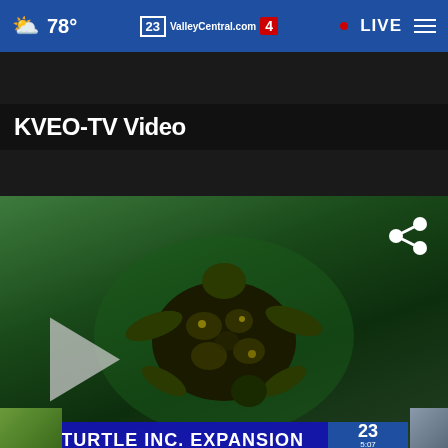78° ValleyCentral.com 23 4 • LIVE
KVEO-TV Video
[Figure (screenshot): Video player showing a sea turtle swimming in green water, with play button overlay. Lower third banner reads SEA TURTLE INC. EXPANSION with Channel 23 logo, time 5:07, temperature 77°. Weather ticker shows BROWNSVILLE NOW CLEAR 80° FORECASTS. Close X button visible.]
[Figure (photo): Advertisement banner: Customize Your Produce Box with yellow/green produce branding]
Customize Your Produce Box